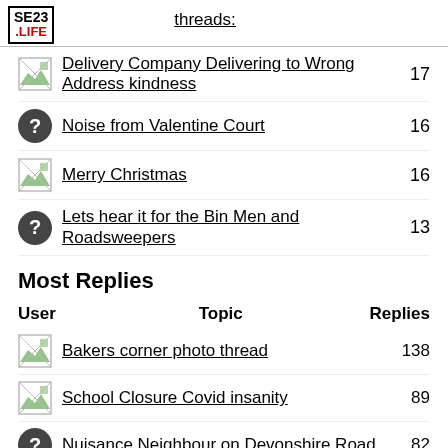SE23 .LIFE
threads:
Delivery Company Delivering to Wrong Address kindness  17
Noise from Valentine Court  16
Merry Christmas  16
Lets hear it for the Bin Men and Roadsweepers  13
Most Replies
| User | Topic | Replies |
| --- | --- | --- |
| [img] | Bakers corner photo thread | 138 |
| [img] | School Closure Covid insanity | 89 |
| [?] | Nuisance Neighbour on Devonshire Road | 82 |
| [img] | London moving to Tier 2 from midnight on Friday | 75 |
| [?] | COVID-19 Rules are locking... |  |